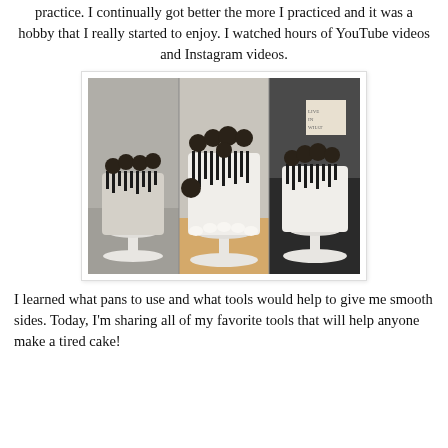practice. I continually got better the more I practiced and it was a hobby that I really started to enjoy. I watched hours of YouTube videos and Instagram videos.
[Figure (photo): Three Oreo drip cakes displayed on white cake stands in a kitchen setting, shown side by side in a collage photo.]
I learned what pans to use and what tools would help to give me smooth sides. Today, I'm sharing all of my favorite tools that will help anyone make a tired cake!